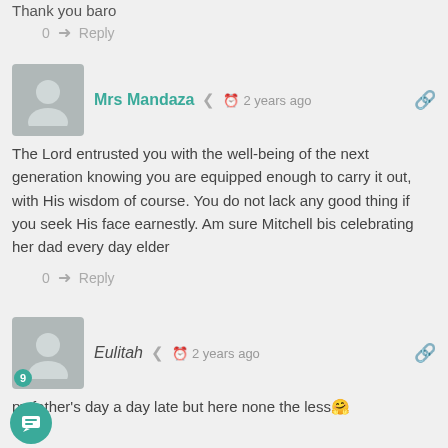Thank you baro
0  ➜  Reply
Mrs Mandaza  2 years ago
The Lord entrusted you with the well-being of the next generation knowing you are equipped enough to carry it out, with His wisdom of course. You do not lack any good thing if you seek His face earnestly. Am sure Mitchell bis celebrating her dad every day elder
0  ➜  Reply
Eulitah  2 years ago
py father's day a day late but here none the less🤗